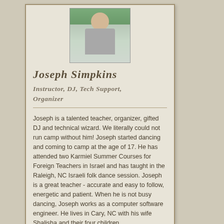[Figure (photo): Headshot photo of Joseph Simpkins, a man wearing a gray t-shirt with a bag strap visible, outdoors with greenery in background]
Joseph Simpkins
Instructor, DJ, Tech Support, Organizer
Joseph is a talented teacher, organizer, gifted DJ and technical wizard. We literally could not run camp without him! Joseph started dancing and coming to camp at the age of 17. He has attended two Karmiel Summer Courses for Foreign Teachers in Israel and has taught in the Raleigh, NC Israeli folk dance session. Joseph is a great teacher - accurate and easy to follow, energetic and patient. When he is not busy dancing, Joseph works as a computer software engineer. He lives in Cary, NC with his wife Shalisha and their four children.